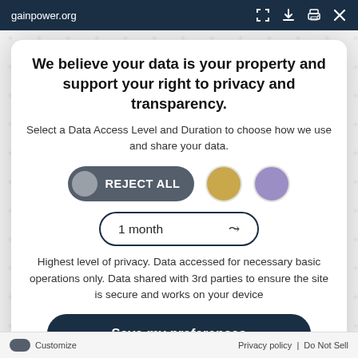gainpower.org
We believe your data is your property and support your right to privacy and transparency.
Select a Data Access Level and Duration to choose how we use and share your data.
[Figure (infographic): Privacy consent modal with three selector buttons: REJECT ALL (dark pill button), a gold circle, and a purple circle. Below is a dropdown reading '1 month' with a chevron arrow.]
Highest level of privacy. Data accessed for necessary basic operations only. Data shared with 3rd parties to ensure the site is secure and works on your device
Save my preferences
Customize   Privacy policy  |  Do Not Sell